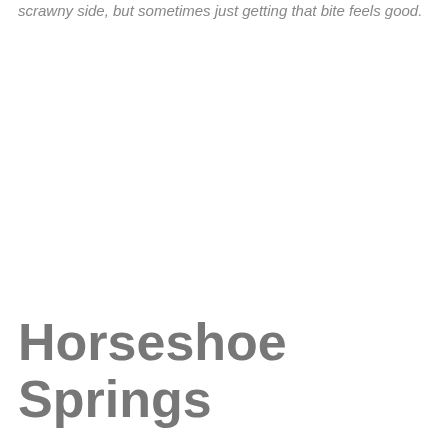scrawny side, but sometimes just getting that bite feels good.
Horseshoe Springs